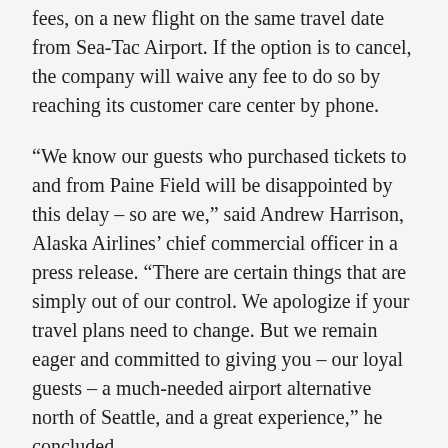fees, on a new flight on the same travel date from Sea-Tac Airport. If the option is to cancel, the company will waive any fee to do so by reaching its customer care center by phone.
“We know our guests who purchased tickets to and from Paine Field will be disappointed by this delay – so are we,” said Andrew Harrison, Alaska Airlines’ chief commercial officer in a press release. “There are certain things that are simply out of our control. We apologize if your travel plans need to change. But we remain eager and committed to giving you – our loyal guests – a much-needed airport alternative north of Seattle, and a great experience,” he concluded.